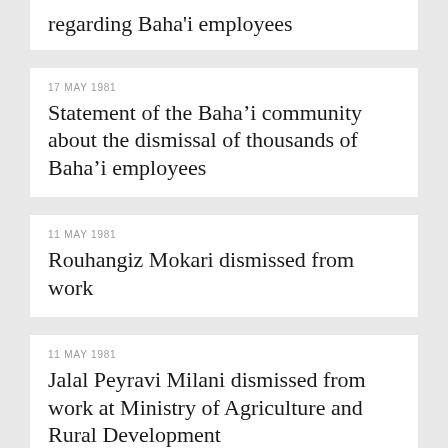regarding Baha'i employees
17 MAY 1981
Statement of the Baha’i community about the dismissal of thousands of Baha’i employees
11 MAY 1981
Rouhangiz Mokari dismissed from work
11 MAY 1981
Jalal Peyravi Milani dismissed from work at Ministry of Agriculture and Rural Development
06 MAY 1981
Ezzat Yazdani dismissed from work at Tehran